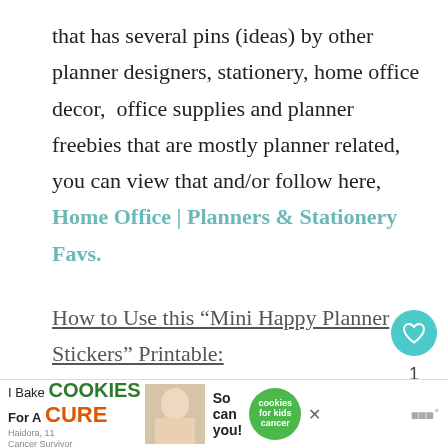that has several pins (ideas) by other planner designers, stationery, home office decor,  office supplies and planner freebies that are mostly planner related, you can view that and/or follow here,  Home Office | Planners & Stationery Favs.
How to Use this “Mini Happy Planner Stickers” Printable:
There are several ways you can use this printable to create your stickers and I have instructions?
[Figure (screenshot): Advertisement banner for 'I Bake Cookies For A Cure' with photo of woman holding cookies, green circle with 'cookies for kids cancer' logo, and close button]